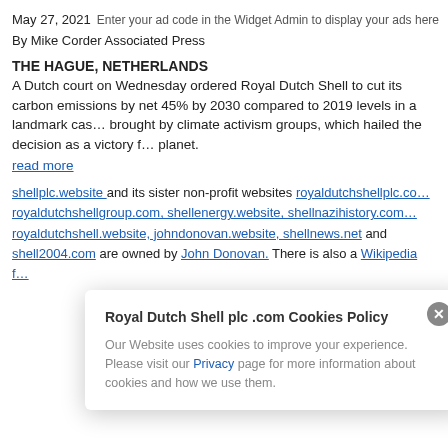May 27, 2021   Enter your ad code in the Widget Admin to display your ads here
By Mike Corder Associated Press
THE HAGUE, NETHERLANDS
A Dutch court on Wednesday ordered Royal Dutch Shell to cut its carbon emissions by net 45% by 2030 compared to 2019 levels in a landmark case brought by climate activism groups, which hailed the decision as a victory for the planet.
read more
shellplc.website and its sister non-profit websites royaldutchshellplc.com, royaldutchshellgroup.com, shellenergy.website, shellnazihistory.com, royaldutchshell.website, johndonovan.website, shellnews.net and shell2004.com are owned by John Donovan. There is also a Wikipedia f…
Royal Dutch Shell plc .com Cookies Policy
Our Website uses cookies to improve your experience. Please visit our Privacy page for more information about cookies and how we use them.